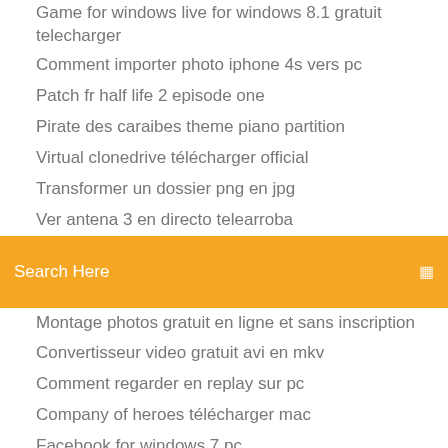Game for windows live for windows 8.1 gratuit telecharger
Comment importer photo iphone 4s vers pc
Patch fr half life 2 episode one
Pirate des caraibes theme piano partition
Virtual clonedrive télécharger official
Transformer un dossier png en jpg
Ver antena 3 en directo telearroba
[Figure (screenshot): Orange search bar with white text 'Search Here' and a small icon on the right]
Montage photos gratuit en ligne et sans inscription
Convertisseur video gratuit avi en mkv
Comment regarder en replay sur pc
Company of heroes télécharger mac
Facebook for windows 7 pc
Extreme car driving simulator hack version télécharger
Change display adapter windows 10
Google earth gratuit mac os x 10.4
Télécharger java runtime environment 1.5 0 windows 10 64 bit